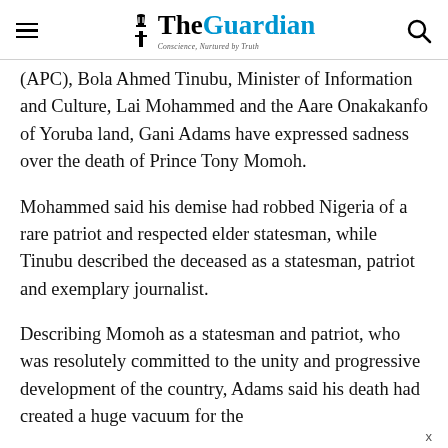The Guardian — Conscience, Nurtured by Truth
(APC), Bola Ahmed Tinubu, Minister of Information and Culture, Lai Mohammed and the Aare Onakakanfo of Yoruba land, Gani Adams have expressed sadness over the death of Prince Tony Momoh.
Mohammed said his demise had robbed Nigeria of a rare patriot and respected elder statesman, while Tinubu described the deceased as a statesman, patriot and exemplary journalist.
Describing Momoh as a statesman and patriot, who was resolutely committed to the unity and progressive development of the country, Adams said his death had created a huge vacuum for the